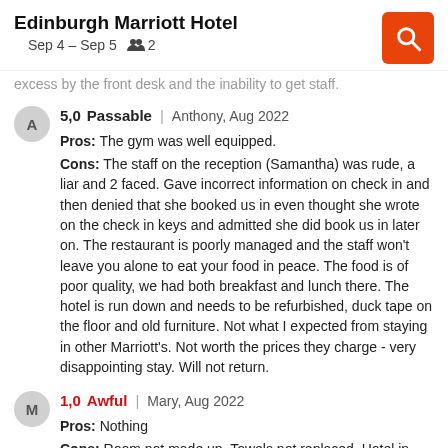Edinburgh Marriott Hotel
Sep 4 – Sep 5   👥 2
excess by the front desk and the inability to get staff.
5,0 Passable | Anthony, Aug 2022
Pros: The gym was well equipped.
Cons: The staff on the reception (Samantha) was rude, a liar and 2 faced. Gave incorrect information on check in and then denied that she booked us in even thought she wrote on the check in keys and admitted she did book us in later on. The restaurant is poorly managed and the staff won't leave you alone to eat your food in peace. The food is of poor quality, we had both breakfast and lunch there. The hotel is run down and needs to be refurbished, duck tape on the floor and old furniture. Not what I expected from staying in other Marriott's. Not worth the prices they charge - very disappointing stay. Will not return.
1,0 Awful | Mary, Aug 2022
Pros: Nothing
Cons: Room not made up. Towels not replaced. Hotel in serious need of repairs & furniture needs replaced, as the